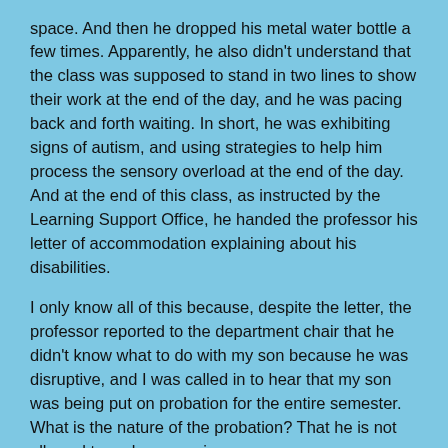space. And then he dropped his metal water bottle a few times. Apparently, he also didn't understand that the class was supposed to stand in two lines to show their work at the end of the day, and he was pacing back and forth waiting. In short, he was exhibiting signs of autism, and using strategies to help him process the sensory overload at the end of the day. And at the end of this class, as instructed by the Learning Support Office, he handed the professor his letter of accommodation explaining about his disabilities.
I only know all of this because, despite the letter, the professor reported to the department chair that he didn't know what to do with my son because he was disruptive, and I was called in to hear that my son was being put on probation for the entire semester. What is the nature of the probation? That he is not allowed to make any noise on campus.
I am definitely convinced that the professor is doing the best he can with what he knows. I do not think bad of him. A classroom is a public space and growing up we all figure out how to conform our personal expressions in public so as to be culturally appropriate. My son needs to learn what works around neurotypical people and what doesn't. Ableism is still around big-time. So, I'm not complaining, I'm just repeating my plaintive wish: I so wish that anyone interfacing with students, of any age, would have some